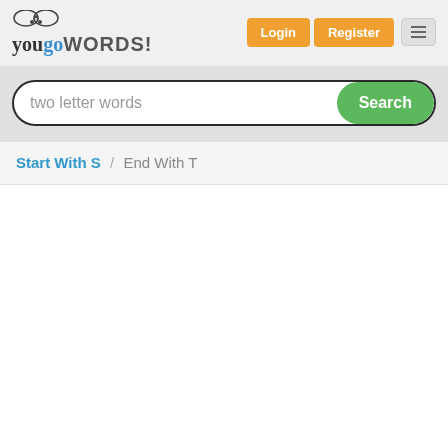yougoWORDS! Login Register
[Figure (screenshot): Search bar with placeholder text 'two letter words' and green Search button]
Start With S / End With T